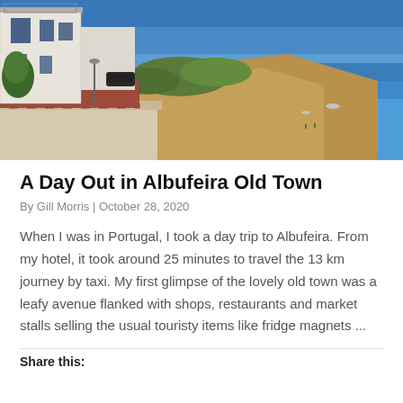[Figure (photo): Coastal view of Albufeira Old Town, Portugal. White-walled buildings on a terrace in the foreground left, sandy cliffs, a beach, and bright blue Atlantic Ocean in the background under a clear blue sky.]
A Day Out in Albufeira Old Town
By Gill Morris | October 28, 2020
When I was in Portugal, I took a day trip to Albufeira. From my hotel, it took around 25 minutes to travel the 13 km journey by taxi. My first glimpse of the lovely old town was a leafy avenue flanked with shops, restaurants and market stalls selling the usual touristy items like fridge magnets ...
Share this: